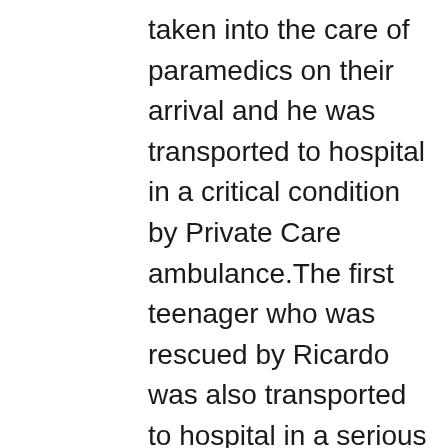taken into the care of paramedics on their arrival and he was transported to hospital in a critical condition by Private Care ambulance.The first teenager who was rescued by Ricardo was also transported to hospital in a serious condition by ambulance and he is recovering.It has been confirmed that the second teenager remains in ICU and he remains in a serious condition in hospital after he was transferred to a Port Elizabeth hospital.NSRI commend Ricardo Kettledas, 29, for his assistance.NSRI:Two lives were saved today thanks to a local Oyster Bay man,